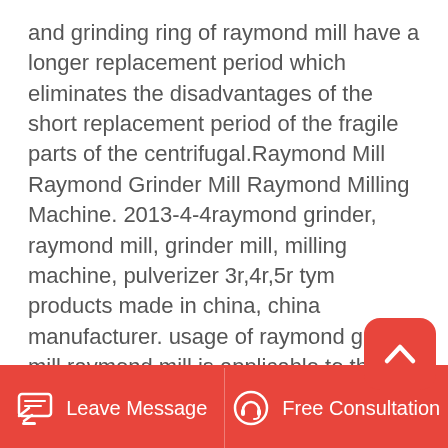and grinding ring of raymond mill have a longer replacement period which eliminates the disadvantages of the short replacement period of the fragile parts of the centrifugal.Raymond Mill Raymond Grinder Mill Raymond Milling Machine. 2013-4-4raymond grinder, raymond mill, grinder mill, milling machine, pulverizer 3r,4r,5r tym products made in china, china manufacturer. usage of raymond grinder mill raymond mill is applicable to the grinding and processing of than 280 kinds of non-flammable and non-explosive.Nov 21, 2016 The Raymond mill, also called Raymond grinding mill or Raymond grinder,is mainly . One popular phase on the internet is related to the mining machinery . Powder Grinding Machine for sale,
Leave Message   Free Consultation